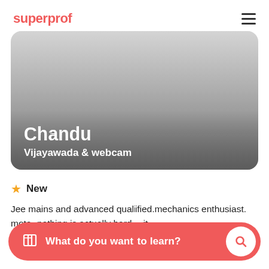superprof
[Figure (photo): Tutor profile photo card with gradient background showing tutor name Chandu and location Vijayawada & webcam]
New
Jee mains and advanced qualified.mechanics enthusiast. moto- nothing is actually hard... it
What do you want to learn?